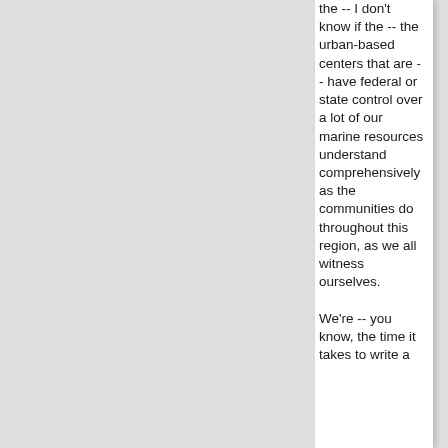the -- I don't know if the -- the urban-based centers that are -- have federal or state control over a lot of our marine resources understand comprehensively as the communities do throughout this region, as we all witness ourselves.
We're -- you know, the time it takes to write a